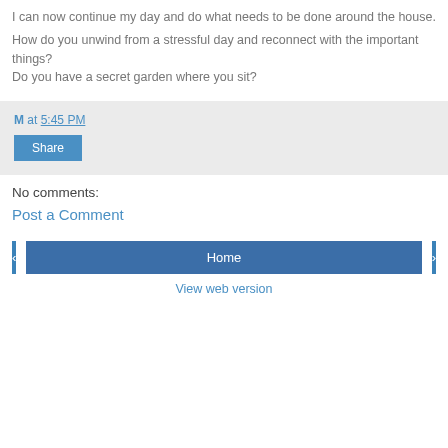I can now continue my day and do what needs to be done around the house.
How do you unwind from a stressful day and reconnect with the important things?
Do you have a secret garden where you sit?
M at 5:45 PM
Share
No comments:
Post a Comment
‹
Home
›
View web version